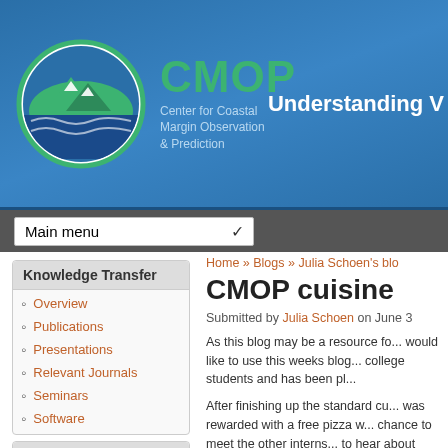[Figure (logo): CMOP logo with green mountain and blue waves in a circle, next to CMOP text and Center for Coastal Margin Observation & Prediction subtitle. Header tagline: Understanding V...]
Main menu
Knowledge Transfer
Overview
Publications
Presentations
Relevant Journals
Seminars
Software
Follow Us
[Figure (other): Follow Us icons: calendar, Flickr, YouTube, RSS]
Home » Blogs » Julia Schoen's blo
CMOP cuisine
Submitted by Julia Schoen on June 3
As this blog may be a resource fo... would like to use this weeks blog... college students and has been pl...
After finishing up the standard cu... was rewarded with a free pizza w... chance to meet the other interns... to hear about some of the project... that are so different from our wo...